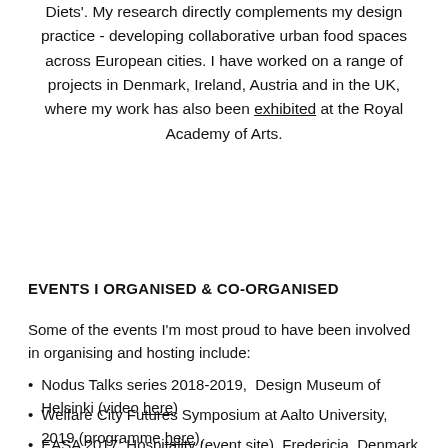Diets'. My research directly complements my design practice - developing collaborative urban food spaces across European cities. I have worked on a range of projects in Denmark, Ireland, Austria and in the UK, where my work has also been exhibited at the Royal Academy of Arts.
EVENTS I ORGANISED & CO-ORGANISED
Some of the events I'm most proud to have been involved in organising and hosting include:
Nodus Talks series 2018-2019, Design Museum of Helsinki (video here)
Welfare City Futures Symposium at Aalto University, 2019 (programme here),
EASA 2017: Hospitality (event site), Fredericia, Denmark - an annual international architecture summer school